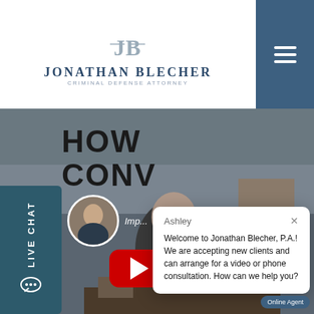[Figure (logo): Jonathan Blecher Criminal Defense Attorney logo with JB monogram in gray and name in dark blue]
[Figure (screenshot): Navigation menu hamburger button on dark blue background]
[Figure (photo): Live chat sidebar button with LIVE CHAT text rotated vertically on dark teal background]
HOW
CONV
[Figure (photo): Small circular portrait photo of a man in suit with Imp... text overlay]
[Figure (screenshot): Live chat popup from Ashley: Welcome to Jonathan Blecher, P.A.! We are accepting new clients and can arrange for a video or phone consultation. How can we help you?]
[Figure (photo): Video of attorney at desk with YouTube play button overlay]
Online Agent